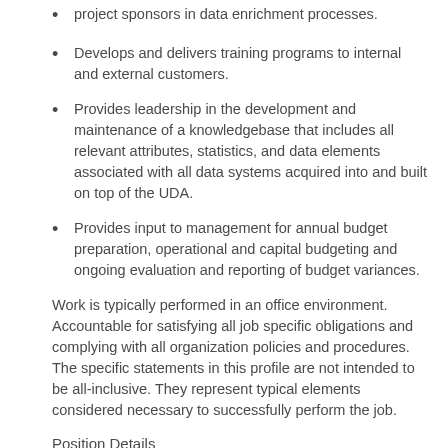project sponsors in data enrichment processes.
Develops and delivers training programs to internal and external customers.
Provides leadership in the development and maintenance of a knowledgebase that includes all relevant attributes, statistics, and data elements associated with all data systems acquired into and built on top of the UDA.
Provides input to management for annual budget preparation, operational and capital budgeting and ongoing evaluation and reporting of budget variances.
Work is typically performed in an office environment. Accountable for satisfying all job specific obligations and complying with all organization policies and procedures. The specific statements in this profile are not intended to be all-inclusive. They represent typical elements considered necessary to successfully perform the job.
Position Details
Preferred Qualifications:
5+ years of Tableau Server Administration
Strong understanding of Tableau infrastructure ,services and configuration